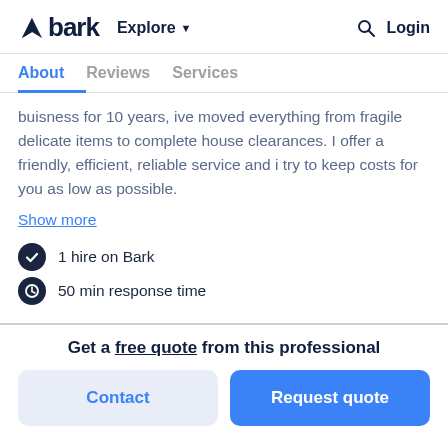bark  Explore  Login
About  Reviews  Services
buisness for 10 years, ive moved everything from fragile delicate items to complete house clearances. I offer a friendly, efficient, reliable service and i try to keep costs for you as low as possible.
Show more
1 hire on Bark
50 min response time
Get a free quote from this professional
Contact  Request quote